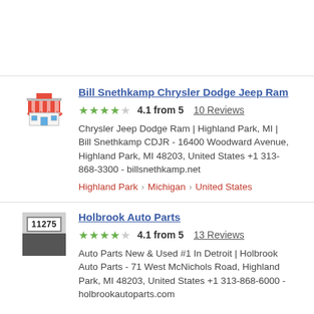Bill Snethkamp Chrysler Dodge Jeep Ram
4.1 from 5   10 Reviews
Chrysler Jeep Dodge Ram | Highland Park, MI | Bill Snethkamp CDJR - 16400 Woodward Avenue, Highland Park, MI 48203, United States +1 313-868-3300 - billsnethkamp.net
Highland Park › Michigan › United States
Holbrook Auto Parts
4.1 from 5   13 Reviews
Auto Parts New & Used #1 In Detroit | Holbrook Auto Parts - 71 West McNichols Road, Highland Park, MI 48203, United States +1 313-868-6000 - holbrookautoparts.com